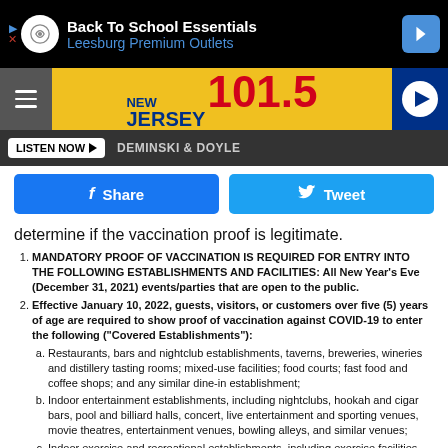[Figure (screenshot): Advertisement banner: Back To School Essentials, Leesburg Premium Outlets]
[Figure (logo): New Jersey 101.5 radio station logo on yellow background with hamburger menu and play button]
[Figure (screenshot): Navigation bar with LISTEN NOW button and DEMINSKI & DOYLE text]
[Figure (screenshot): Social sharing buttons: Share (Facebook) and Tweet (Twitter)]
determine if the vaccination proof is legitimate.
MANDATORY PROOF OF VACCINATION IS REQUIRED FOR ENTRY INTO THE FOLLOWING ESTABLISHMENTS AND FACILITIES: All New Year's Eve (December 31, 2021) events/parties that are open to the public.
Effective January 10, 2022, guests, visitors, or customers over five (5) years of age are required to show proof of vaccination against COVID-19 to enter the following ("Covered Establishments"):
Restaurants, bars and nightclub establishments, taverns, breweries, wineries and distillery tasting rooms; mixed-use facilities; food courts; fast food and coffee shops; and any similar dine-in establishment;
Indoor entertainment establishments, including nightclubs, hookah and cigar bars, pool and billiard halls, concert, live entertainment and sporting venues, movie theatres, entertainment venues, bowling alleys, and similar venues;
Indoor exercise and recreational establishments, including exercise facilities, dance, yoga and Pilates studios;  facilities used for group fitness and/or exercise classes, and similar venues;
Indoor event and meeting establishments, including libraries, hotel common rooms,